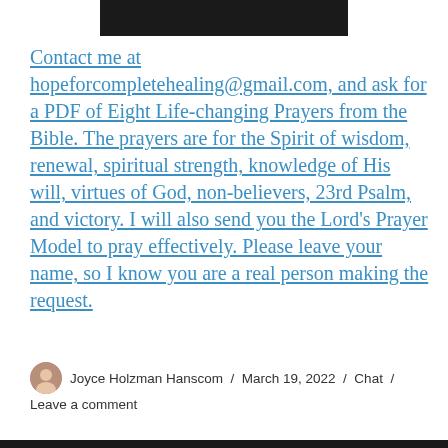[Figure (photo): Dark/black horizontal bar at the top of the page, partially visible]
Contact me at hopeforcompletehealing@gmail.com, and ask for a PDF of Eight Life-changing Prayers from the Bible. The prayers are for the Spirit of wisdom, renewal, spiritual strength, knowledge of His will, virtues of God, non-believers, 23rd Psalm, and victory. I will also send you the Lord's Prayer Model to pray effectively. Please leave your name, so I know you are a real person making the request.
Joyce Holzman Hanscom / March 19, 2022 / Chat / Leave a comment
[Figure (photo): Dark/black horizontal bar at the bottom of the page]